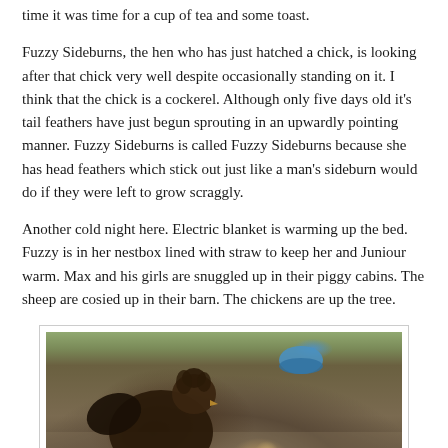time it was time for a cup of tea and some toast.
Fuzzy Sideburns, the hen who has just hatched a chick, is looking after that chick very well despite occasionally standing on it. I think that the chick is a cockerel. Although only five days old it's tail feathers have just begun sprouting in an upwardly pointing manner. Fuzzy Sideburns is called Fuzzy Sideburns because she has head feathers which stick out just like a man's sideburn would do if they were left to grow scraggly.
Another cold night here. Electric blanket is warming up the bed. Fuzzy is in her nestbox lined with straw to keep her and Juniour warm. Max and his girls are snuggled up in their piggy cabins. The sheep are cosied up in their barn. The chickens are up the tree.
[Figure (photo): A photograph of a hen (Fuzzy Sideburns) with a small chick on gravelly ground, with a blue bowl visible in the background.]